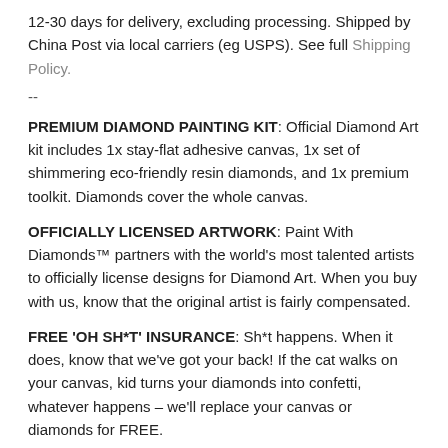12-30 days for delivery, excluding processing. Shipped by China Post via local carriers (eg USPS). See full Shipping Policy.
--
PREMIUM DIAMOND PAINTING KIT: Official Diamond Art kit includes 1x stay-flat adhesive canvas, 1x set of shimmering eco-friendly resin diamonds, and 1x premium toolkit. Diamonds cover the whole canvas.
OFFICIALLY LICENSED ARTWORK: Paint With Diamonds™ partners with the world's most talented artists to officially license designs for Diamond Art. When you buy with us, know that the original artist is fairly compensated.
FREE 'OH SH*T' INSURANCE: Sh*t happens. When it does, know that we've got your back! If the cat walks on your canvas, kid turns your diamonds into confetti, whatever happens – we'll replace your canvas or diamonds for FREE.
HAND-CODED CANVAS DESIGN: Our design team manually translates each artwork to Diamond Painting canvas. We